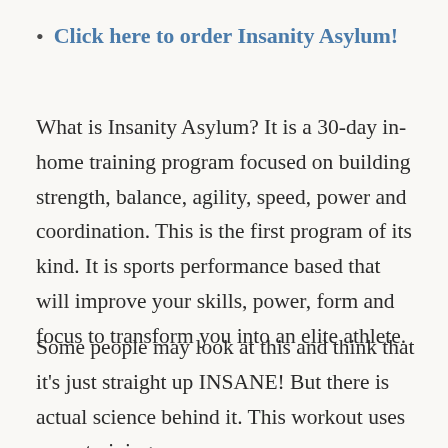Click here to order Insanity Asylum!
What is Insanity Asylum? It is a 30-day in-home training program focused on building strength, balance, agility, speed, power and coordination. This is the first program of its kind. It is sports performance based that will improve your skills, power, form and focus to transform you into an elite athlete.
Some people may look at this and think that it’s just straight up INSANE! But there is actual science behind it. This workout uses cross training